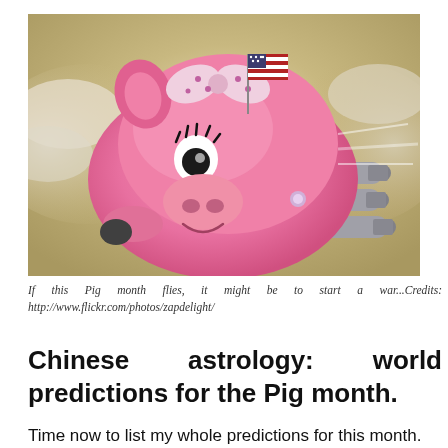[Figure (photo): A cartoon-style pink toy pig with a polka-dot bow and eyelashes, flying through cloudy sky with rocket boosters attached to its sides and a small American flag on its head.]
If this Pig month flies, it might be to start a war...Credits: http://www.flickr.com/photos/zapdelight/
Chinese astrology: world predictions for the Pig month.
Time now to list my whole predictions for this month. You can